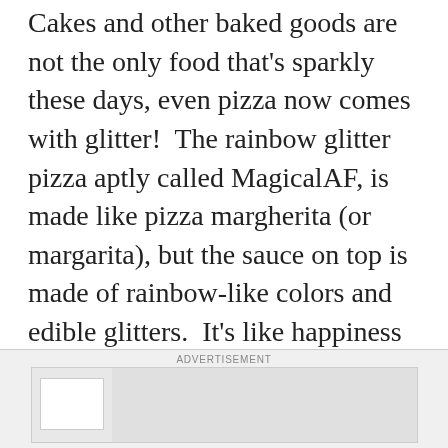Cakes and other baked goods are not the only food that's sparkly these days, even pizza now comes with glitter!  The rainbow glitter pizza aptly called MagicalAF, is made like pizza margherita (or margarita), but the sauce on top is made of rainbow-like colors and edible glitters.  It's like happiness that you can eat!  The rainbow glitter pizza has become so popular these days that famous celebrities took notice of it – Jimmy Kimmel featured it on his late night show, and model and TV personality Holly Madison posted it on her Instagram account with a caption asking her followers if they have had their glitter rainbow pizza
ADVERTISEMENT
[Figure (other): Advertisement banner placeholder with a small white thumbnail box on the left and a grey content area on the right]